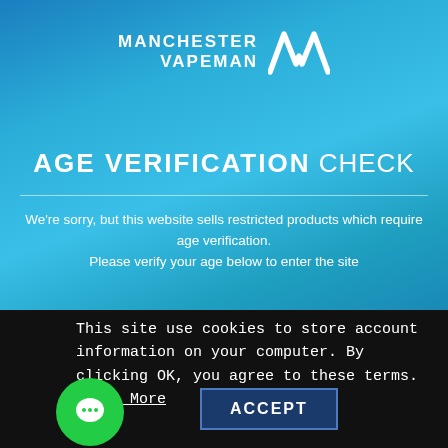[Figure (logo): Manchester Vapeman logo with stylized M icon in white]
AGE VERIFICATION CHECK
We're sorry, but this website sells restricted products which require age verification.
Please verify your age below to enter the site
This site use cookies to store account information on your computer. By clicking OK, you agree to these terms. Learn More
ACCEPT